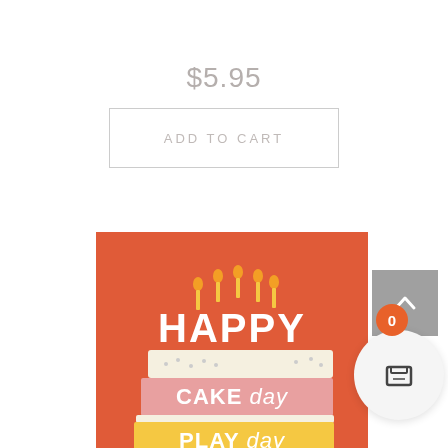$5.95
ADD TO CART
[Figure (illustration): Birthday card with orange background showing a birthday cake slice with candles and text: HAPPY CAKE day PLAY day]
0